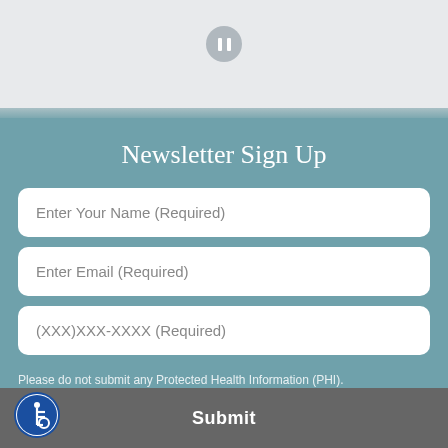[Figure (other): Pause button icon in a circle, gray background]
Newsletter Sign Up
Enter Your Name (Required)
Enter Email (Required)
(XXX)XXX-XXXX (Required)
Please do not submit any Protected Health Information (PHI).
[Figure (logo): Accessibility wheelchair icon in blue circle]
Submit